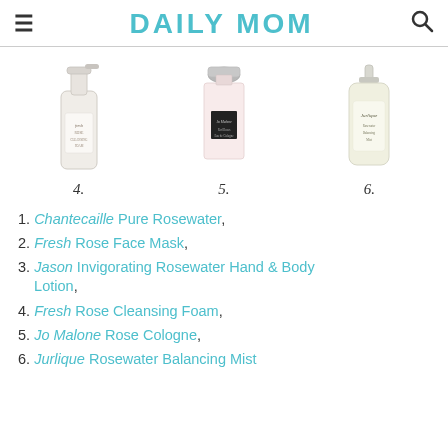DAILY MOM
[Figure (photo): Three product images numbered 4, 5, 6: Fresh Rose Cleansing Foam (item 4), Jo Malone Rose Cologne bottle (item 5), Jurlique Rosewater Balancing Mist (item 6)]
1. Chantecaille Pure Rosewater,
2. Fresh Rose Face Mask,
3. Jason Invigorating Rosewater Hand & Body Lotion,
4. Fresh Rose Cleansing Foam,
5. Jo Malone Rose Cologne,
6. Jurlique Rosewater Balancing Mist